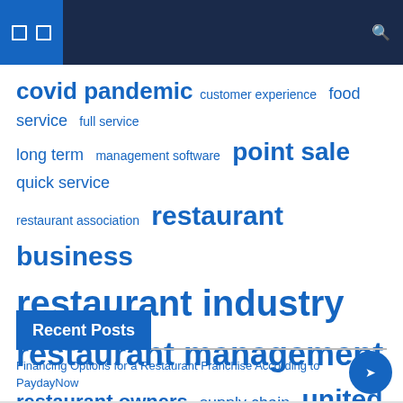Navigation bar with menu icons and search
[Figure (other): Tag cloud with restaurant industry related terms in various font sizes, all in blue]
Recent Posts
Financing Options for a Restaurant Franchise According to PaydayNow